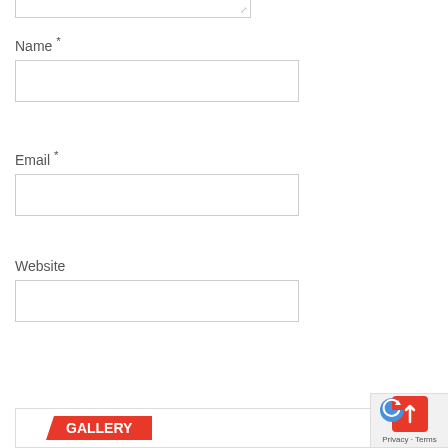Name *
[Figure (screenshot): Name text input field (empty)]
Email *
[Figure (screenshot): Email text input field (empty)]
Website
[Figure (screenshot): Website text input field (empty)]
[Figure (screenshot): Post Comment button in red]
[Figure (screenshot): Gallery section header with red ribbon label and reCAPTCHA badge]